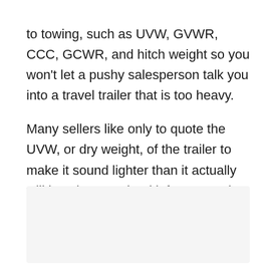to towing, such as UVW, GVWR, CCC, GCWR, and hitch weight so you won't let a pushy salesperson talk you into a travel trailer that is too heavy.
Many sellers like only to quote the UVW, or dry weight, of the trailer to make it sound lighter than it actually will be when you load it for a camping trip. Ask for manufacturer paperwork to see all the numbers for yourself.